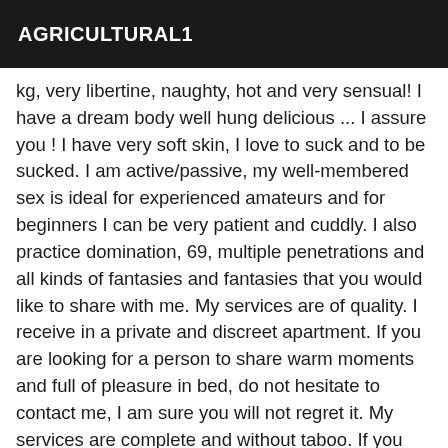AGRICULTURAL1
kg, very libertine, naughty, hot and very sensual! I have a dream body well hung delicious ... I assure you ! I have very soft skin, I love to suck and to be sucked. I am active/passive, my well-membered sex is ideal for experienced amateurs and for beginners I can be very patient and cuddly. I also practice domination, 69, multiple penetrations and all kinds of fantasies and fantasies that you would like to share with me. My services are of quality. I receive in a private and discreet apartment. If you are looking for a person to share warm moments and full of pleasure in bed, do not hesitate to contact me, I am sure you will not regret it. My services are complete and without taboo. If you are passive, I have a good and hard surprise for you, but if you are active, I have a very tight and hot ass to put all his cock and fuck me tight. surprise for you, but if you are active, I have a very tight and hot ass to put all his cock and fuck me tight. If you also prefer, I can cum in your face or